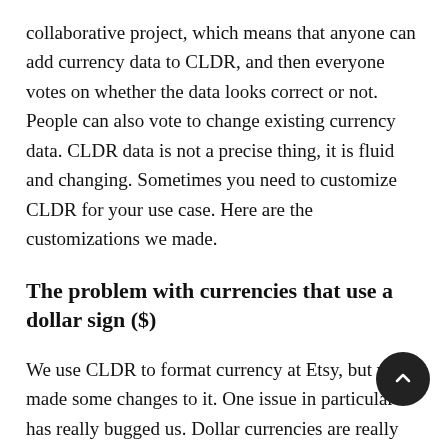collaborative project, which means that anyone can add currency data to CLDR, and then everyone votes on whether the data looks correct or not. People can also vote to change existing currency data. CLDR data is not a precise thing, it is fluid and changing. Sometimes you need to customize CLDR for your use case. Here are the customizations we made.
The problem with currencies that use a dollar sign ($)
We use CLDR to format currency at Etsy, but we've made some changes to it. One issue in particular has really bugged us. Dollar currencies are really hard to work with. The symbol for CAD (Canadian dollar) is "$" in Canada, but it is "CA$" in the US and everywhere else